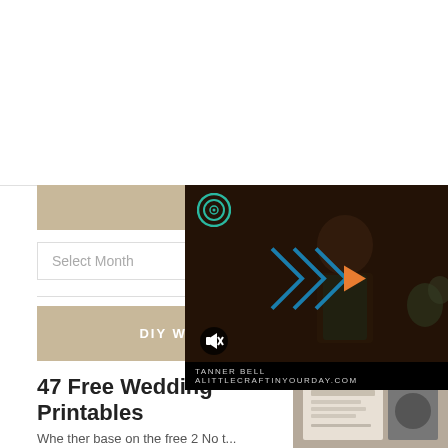[Figure (screenshot): White space / top section of a website page]
[Figure (screenshot): Video overlay showing a person (Tanner Bell) with a forward-skip play icon and mute icon. Bottom bar reads: TANNER BELL  ALITTLECRAFTINYOURDAY.COM]
Select Month
DIY WEDDING IDEAS
47 Free Wedding Printables
Whe ther base on the free 2 No t...
[Figure (photo): Thumbnail of wedding invitation printables]